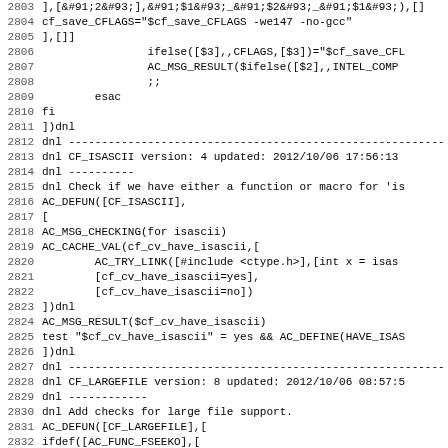[Figure (screenshot): Source code listing lines 2803-2835 of an autoconf m4 script, showing monospace code with line numbers on the left and code content on the right. The code includes shell script constructs, dnl comments, AC_DEFUN macros, and autoconf functions related to CF_ISASCII and CF_LARGEFILE.]